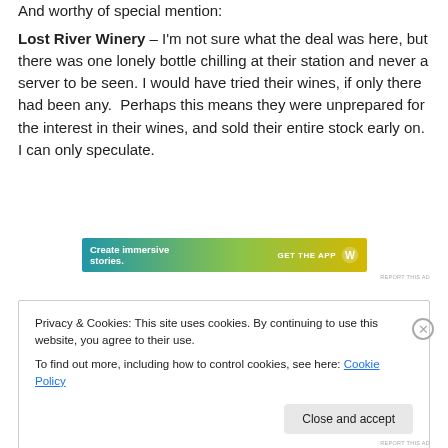And worthy of special mention:
Lost River Winery – I'm not sure what the deal was here, but there was one lonely bottle chilling at their station and never a server to be seen. I would have tried their wines, if only there had been any.  Perhaps this means they were unprepared for the interest in their wines, and sold their entire stock early on.  I can only speculate.
[Figure (other): Advertisement banner with gradient background (teal to yellow-green), text 'Create immersive stories.' on left, 'GET THE APP' with a W logo on right.]
REPORT THIS AD
Privacy & Cookies: This site uses cookies. By continuing to use this website, you agree to their use.
To find out more, including how to control cookies, see here: Cookie Policy
Close and accept
REPORT THIS AD